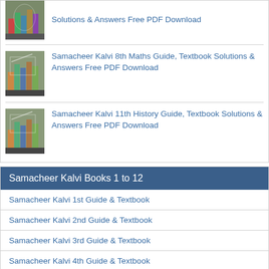Solutions & Answers Free PDF Download
Samacheer Kalvi 8th Maths Guide, Textbook Solutions & Answers Free PDF Download
Samacheer Kalvi 11th History Guide, Textbook Solutions & Answers Free PDF Download
Samacheer Kalvi Books 1 to 12
Samacheer Kalvi 1st Guide & Textbook
Samacheer Kalvi 2nd Guide & Textbook
Samacheer Kalvi 3rd Guide & Textbook
Samacheer Kalvi 4th Guide & Textbook
Samacheer Kalvi 5th Guide & Textbook